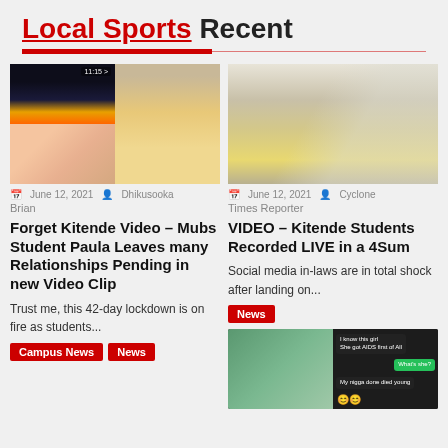Local Sports Recent
[Figure (photo): Collage of two photos: left shows a person against night city lights (top) and a person on a phone (bottom); right shows a person in yellow skirt standing by window]
June 12, 2021  Dhikusooka Brian
Forget Kitende Video – Mubs Student Paula Leaves many Relationships Pending in new Video Clip
Trust me, this 42-day lockdown is on fire as students...
Campus News  News
[Figure (photo): Person in yellow skirt standing by curtained window]
June 12, 2021  Cyclone Times Reporter
VIDEO – Kitende Students Recorded LIVE in a 4Sum
Social media in-laws are in total shock after landing on...
News
[Figure (screenshot): Chat screenshot with mobile chat bubbles and emoji]